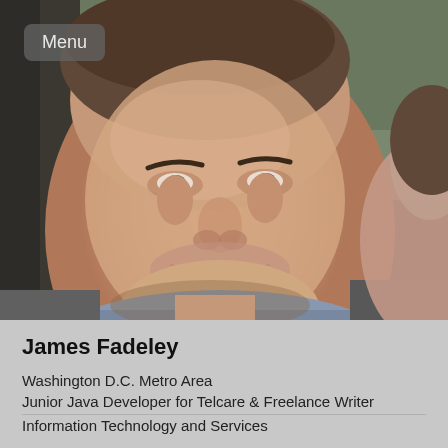[Figure (photo): Close-up photo of a smiling man (James Fadeley) with short hair, wearing a light blue shirt and grey jacket. A partial view of another person is visible on the right edge.]
James Fadeley
Washington D.C. Metro Area
Junior Java Developer for Telcare & Freelance Writer
Information Technology and Services